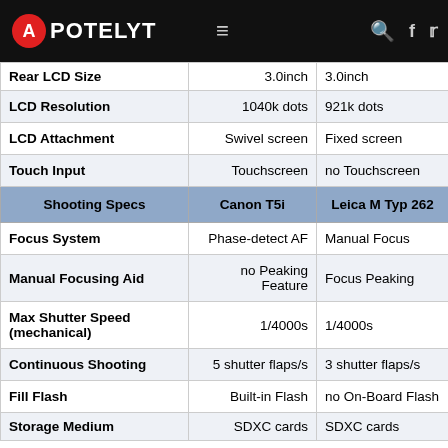APOTELYT
| Shooting Specs | Canon T5i | Leica M Typ 262 |
| --- | --- | --- |
| Rear LCD Size | 3.0inch | 3.0inch |
| LCD Resolution | 1040k dots | 921k dots |
| LCD Attachment | Swivel screen | Fixed screen |
| Touch Input | Touchscreen | no Touchscreen |
| Shooting Specs | Canon T5i | Leica M Typ 262 |
| Focus System | Phase-detect AF | Manual Focus |
| Manual Focusing Aid | no Peaking Feature | Focus Peaking |
| Max Shutter Speed (mechanical) | 1/4000s | 1/4000s |
| Continuous Shooting | 5 shutter flaps/s | 3 shutter flaps/s |
| Fill Flash | Built-in Flash | no On-Board Flash |
| Storage Medium | SDXC cards | SDXC cards |